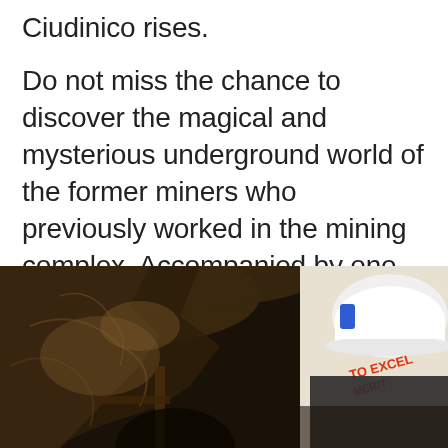Ciudinico rises.
Do not miss the chance to discover the magical and mysterious underground world of the former miners who previously worked in the mining complex. Accompanied by one of our guides you will be forwarded in the paths that characterise its uniqueness.
[Figure (photo): Dark underground mine tunnel with rocky walls and ceiling on the left side; a person wearing a white hard hat with text 'TO EXCEL' and 'MERIT' visible on the right side, photographed in low light conditions.]